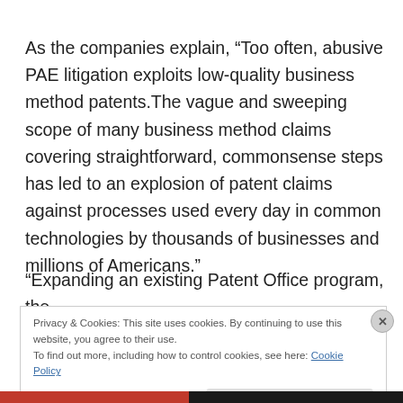As the companies explain, “Too often, abusive PAE litigation exploits low-quality business method patents.The vague and sweeping scope of many business method claims covering straightforward, commonsense steps has led to an explosion of patent claims against processes used every day in common technologies by thousands of businesses and millions of Americans.”
“Expanding an existing Patent Office program, the
Privacy & Cookies: This site uses cookies. By continuing to use this website, you agree to their use.
To find out more, including how to control cookies, see here: Cookie Policy